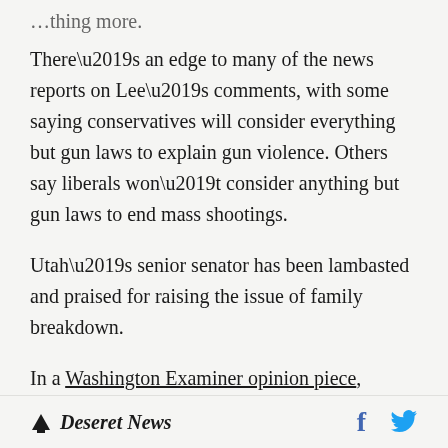…thing more.
There’s an edge to many of the news reports on Lee’s comments, with some saying conservatives will consider everything but gun laws to explain gun violence. Others say liberals won’t consider anything but gun laws to end mass shootings.
Utah’s senior senator has been lambasted and praised for raising the issue of family breakdown.
In a Washington Examiner opinion piece, Timothy P. Carney defended Lee, saying Lee didn’t lay sole blame for mass shootings on fatherlessness. “Nobody has to say that in order
Deseret News  f  [Twitter bird]